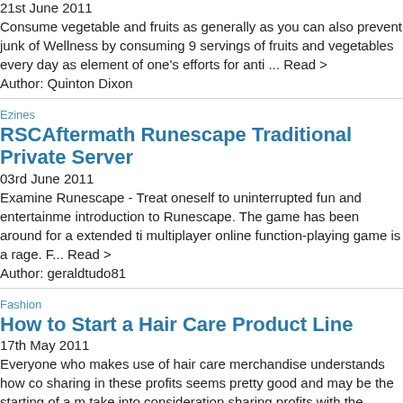21st June 2011
Consume vegetable and fruits as generally as you can also prevent junk of Wellness by consuming 9 servings of fruits and vegetables every day as element of one's efforts for anti ... Read >
Author: Quinton Dixon
Ezines
RSCAftermath Runescape Traditional Private Server
03rd June 2011
Examine Runescape - Treat oneself to uninterrupted fun and entertainment introduction to Runescape. The game has been around for a extended ti multiplayer online function-playing game is a rage. F... Read >
Author: geraldtudo81
Fashion
How to Start a Hair Care Product Line
17th May 2011
Everyone who makes use of hair care merchandise understands how co sharing in these profits seems pretty good and may be the starting of a m take into consideration sharing profits with the... Read >
Author: Women's Shoes